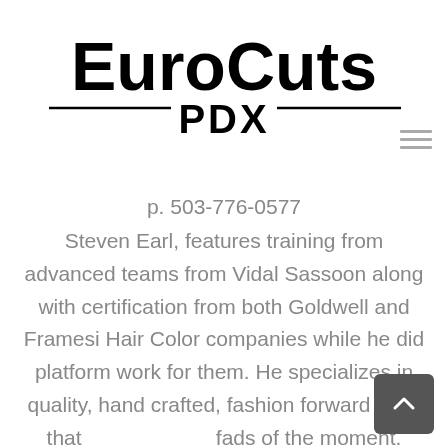[Figure (logo): EuroCuts PDX logo with decorative horizontal lines flanking the PDX text]
p. 503-776-0577
Steven Earl, features training from advanced teams from Vidal Sassoon along with certification from both Goldwell and Framesi Hair Color companies while he did platform work for them. He specializes in quality, hand crafted, fashion forward work that transcends the fads of the moment.